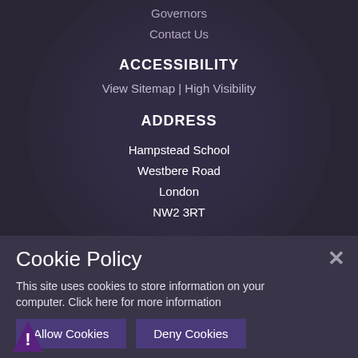Governors
Contact Us
ACCESSIBILITY
View Sitemap | High Visibility
ADDRESS
Hampstead School
Westbere Road
London
NW2 3RT
Cookie Policy
This site uses cookies to store information on your computer. Click here for more information